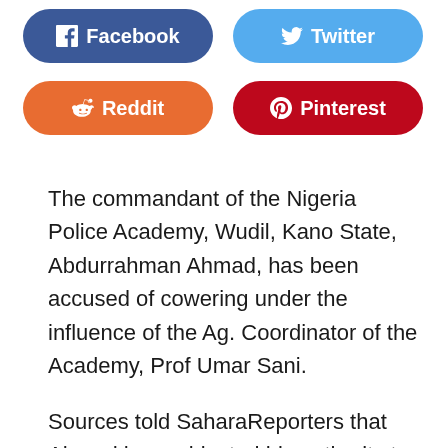[Figure (other): Social media share buttons: Facebook (dark blue), Twitter (light blue), Reddit (orange), Pinterest (dark red)]
The commandant of the Nigeria Police Academy, Wudil, Kano State, Abdurrahman Ahmad, has been accused of cowering under the influence of the Ag. Coordinator of the Academy, Prof Umar Sani.
Sources told SaharaReporters that Ahmad has subjected his authority to the Ag. Coordinator in an attempt to cover up for the weaknesses of his (the commandant's) son.